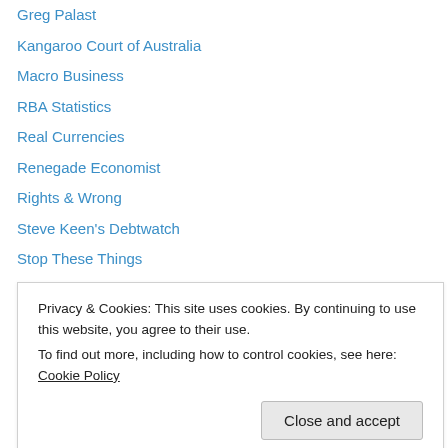Greg Palast
Kangaroo Court of Australia
Macro Business
RBA Statistics
Real Currencies
Renegade Economist
Rights & Wrong
Steve Keen's Debtwatch
Stop These Things
The Blissful Ignoramus
UsuryFree Eye Opener
Zeg Cartoonist
Zero Hedge
Privacy & Cookies: This site uses cookies. By continuing to use this website, you agree to their use.
To find out more, including how to control cookies, see here: Cookie Policy
Close and accept